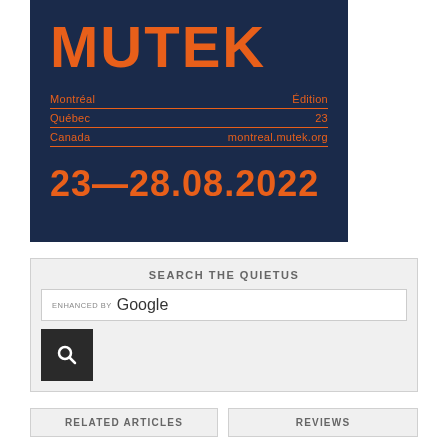[Figure (logo): MUTEK festival banner on dark navy background with orange text. Shows MUTEK logo, Montreal/Quebec/Canada location info, Edition 23, montreal.mutek.org, and dates 23—28.08.2022]
SEARCH THE QUIETUS
ENHANCED BY Google
RELATED ARTICLES
REVIEWS